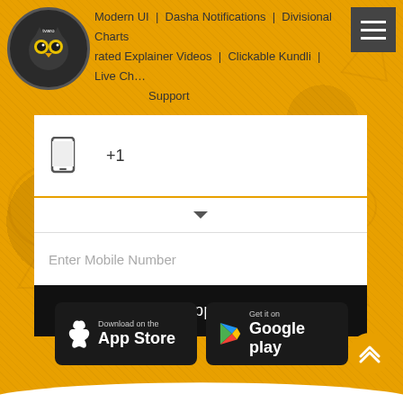[Figure (screenshot): App website screenshot showing header navigation with logo (tvaro owl logo), hamburger menu button, and navigation links: Modern UI, Dasha Notifications, Divisional Charts, rated Explainer Videos, Clickable Kundli, Live Ch..., Support]
Modern UI  |  Dasha Notifications  |  Divisional Charts
rated Explainer Videos  |  Clickable Kundli  |  Live Ch...
Support
+1
Enter Mobile Number
Get App Link
[Figure (logo): Download on the App Store badge]
[Figure (logo): Get it on Google play badge]